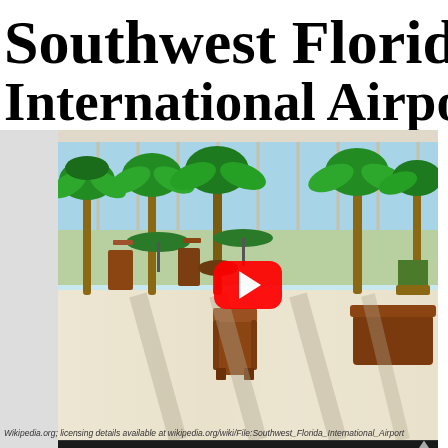Southwest Florida International Airport
[Figure (photo): Interior of Southwest Florida International Airport terminal showing seating area with wooden chairs, palm trees, large glass windows overlooking tarmac, with a YouTube play button overlay indicating this is a video thumbnail]
Wikipedia.org; licensing details available at wikipedia.org/wiki/File:Southwest_Florida_International_Airport